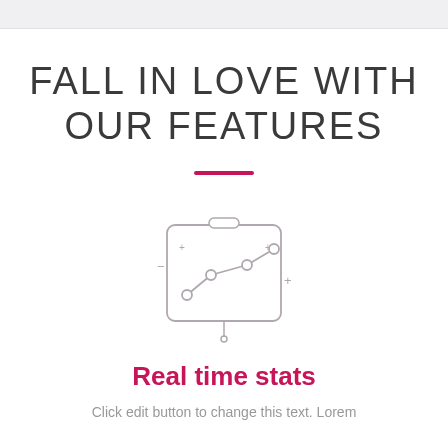FALL IN LOVE WITH OUR FEATURES
[Figure (illustration): Line chart icon on a whiteboard/presentation board — a rounded rectangle board with a small handle on top and a stand pin at the bottom, containing a simple line graph with three circular data points connected by lines, plus small '+' and '-' decorative marks around it]
Real time stats
Click edit button to change this text. Lorem